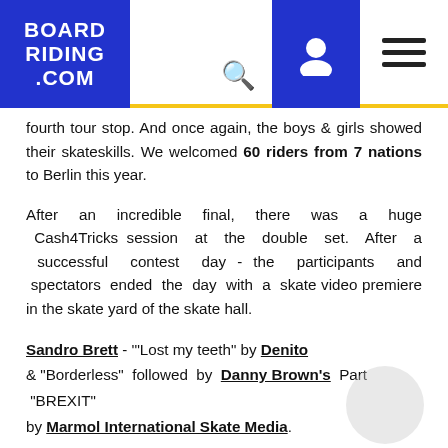BOARDRIDING.COM
fourth tour stop. And once again, the boys & girls showed their skateskills. We welcomed 60 riders from 7 nations to Berlin this year.
After an incredible final, there was a huge Cash4Tricks session at the double set. After a successful contest day - the participants and spectators ended the day with a skate video premiere in the skate yard of the skate hall.
Sandro Brett - "Lost my teeth" by Denito & "Borderless" followed by Danny Brown's Part "BREXIT" by Marmol International Skate Media.
Podium – Berlin, 28.05.
Men
1st place: Vitus Silas Sondrup
2nd place: Gino Körner